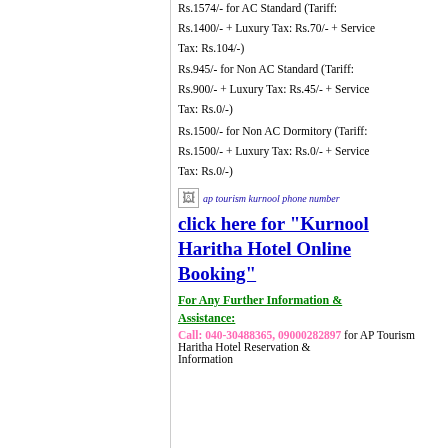Rs.1574/- for AC Standard (Tariff: Rs.1400/- + Luxury Tax: Rs.70/- + Service Tax: Rs.104/-)
Rs.945/- for Non AC Standard (Tariff: Rs.900/- + Luxury Tax: Rs.45/- + Service Tax: Rs.0/-)
Rs.1500/- for Non AC Dormitory (Tariff: Rs.1500/- + Luxury Tax: Rs.0/- + Service Tax: Rs.0/-)
[Figure (illustration): Small broken image icon with alt text 'ap tourism kurnool phone number']
click here for "Kurnool Haritha Hotel Online Booking"
For Any Further Information & Assistance:
Call: 040-30488365, 09000282897 for AP Tourism Haritha Hotel Reservation & Information